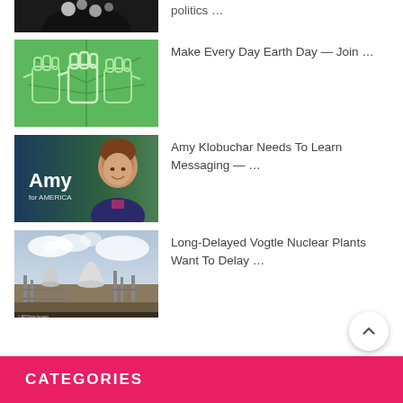[Figure (photo): Partial top of page: clipped photo of dark background with white flower]
politics …
[Figure (illustration): Green image with illustrated fist outlines on a green leaf background]
Make Every Day Earth Day — Join …
[Figure (photo): Photo of Amy Klobuchar smiling, with 'Amy for America' text on dark blue background]
Amy Klobuchar Needs To Learn Messaging — …
[Figure (photo): Aerial photo of Vogtle Nuclear Plant construction site with cooling towers]
Long-Delayed Vogtle Nuclear Plants Want To Delay …
CATEGORIES